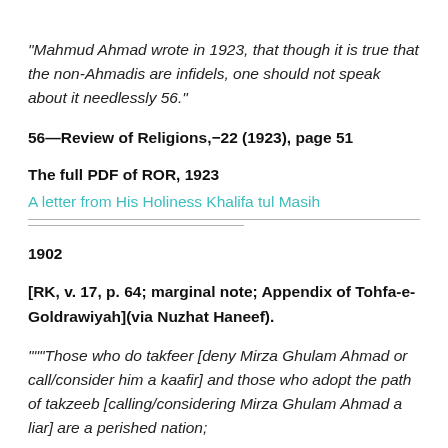“Mahmud Ahmad wrote in 1923, that though it is true that the non-Ahmadis are infidels, one should not speak about it needlessly 56.”
56—Review of Religions,−22 (1923), page 51
The full PDF of ROR, 1923
A letter from His Holiness Khalifa tul Masih
1902
[RK, v. 17, p. 64; marginal note; Appendix of Tohfa-e-Goldrawiyah](via Nuzhat Haneef).
“““Those who do takfeer [deny Mirza Ghulam Ahmad or call/consider him a kaafir] and those who adopt the path of takzeeb [calling/considering Mirza Ghulam Ahmad a liar] are a perished nation;